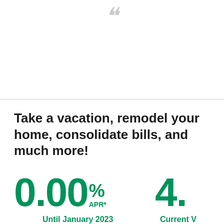[Figure (illustration): Decorative quotation mark or logo element in light gray at the top of the page]
Take a vacation, remodel your home, consolidate bills, and much more!
0.00% APR*
4.
Until January 2023
Current V